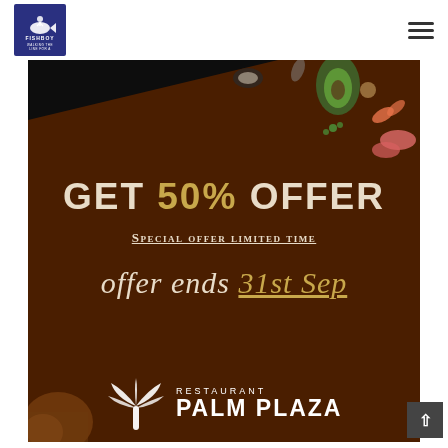[Figure (logo): Fishboy restaurant logo - blue square with fish icon and text]
[Figure (infographic): Restaurant promotional banner with dark brown background and food items at top. Text: GET 50% OFFER, Special offer limited time, offer ends 31st Sep. Restaurant Palm Plaza logo at bottom with palm tree icon.]